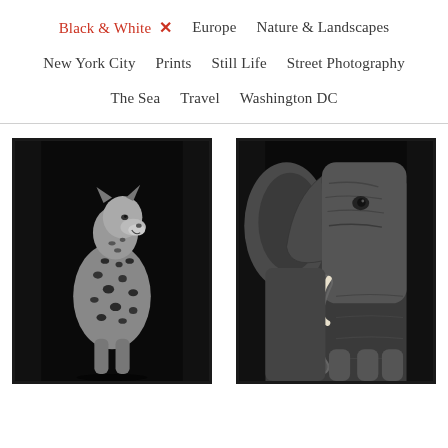Black & White × Europe Nature & Landscapes New York City Prints Still Life Street Photography The Sea Travel Washington DC
[Figure (photo): Black and white photograph of a leopard sitting upright with head raised, shown against a dark black background. The leopard's spots are clearly visible on its white and grey fur.]
[Figure (photo): Black and white close-up photograph of elephants against a dark background, showing the textured skin, ears, and a tusk of an elephant with other elephants visible behind it.]